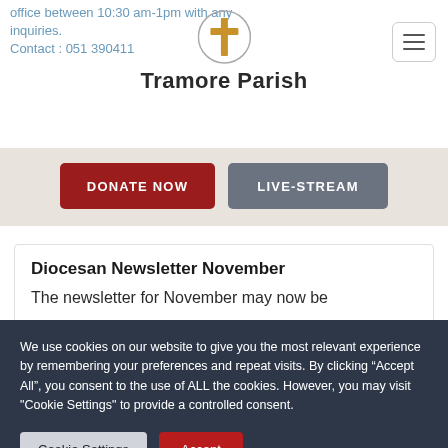office between 10:30 am-1pm with any inquiries.
Contact : 051 390411
[Figure (logo): Tramore Parish logo with cross icon and text 'Tramore Parish']
DONATE NOW
LIVE-STREAM
Diocesan Newsletter November
The newsletter for November may now be
We use cookies on our website to give you the most relevant experience by remembering your preferences and repeat visits. By clicking “Accept All”, you consent to the use of ALL the cookies. However, you may visit "Cookie Settings" to provide a controlled consent.
Cookie Settings
Accept